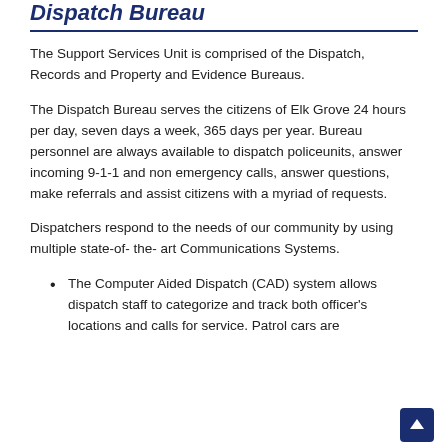Dispatch Bureau
The Support Services Unit is comprised of the Dispatch, Records and Property and Evidence Bureaus.
The Dispatch Bureau serves the citizens of Elk Grove 24 hours per day, seven days a week, 365 days per year. Bureau personnel are always available to dispatch policeunits, answer incoming 9-1-1 and non emergency calls, answer questions, make referrals and assist citizens with a myriad of requests.
Dispatchers respond to the needs of our community by using multiple state-of- the- art Communications Systems.
The Computer Aided Dispatch (CAD) system allows dispatch staff to categorize and track both officer's locations and calls for service. Patrol cars are